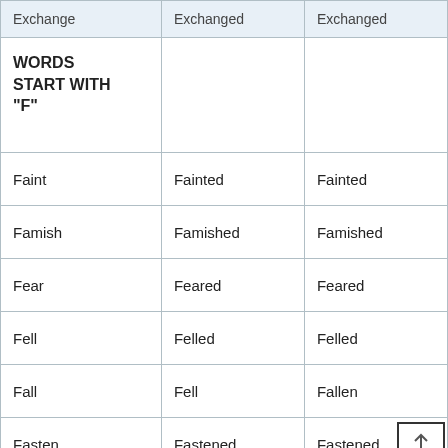| Exchange | Exchanged | Exchanged |
| --- | --- | --- |
| WORDS START WITH "F" |  |  |
| Faint | Fainted | Fainted |
| Famish | Famished | Famished |
| Fear | Feared | Feared |
| Fell | Felled | Felled |
| Fall | Fell | Fallen |
| Fasten | Fastened | Fastened |
| Feel | Felt | Felt |